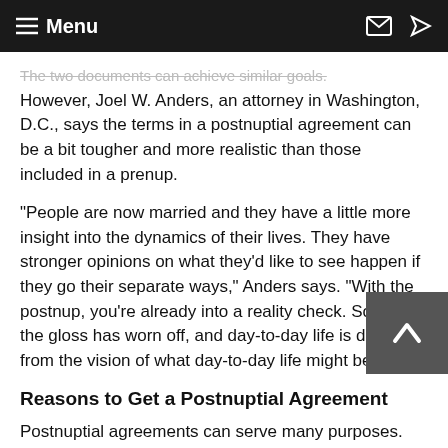Menu
The two documents can achieve similar goals. However, Joel W. Anders, an attorney in Washington, D.C., says the terms in a postnuptial agreement can be a bit tougher and more realistic than those included in a prenup.
"People are now married and they have a little more insight into the dynamics of their lives. They have stronger opinions on what they'd like to see happen if they go their separate ways," Anders says. "With the postnup, you're already into a reality check. Some of the gloss has worn off, and day-to-day life is different from the vision of what day-to-day life might be like."
Reasons to Get a Postnuptial Agreement
Postnuptial agreements can serve many purposes. While certainly not always the case, one more